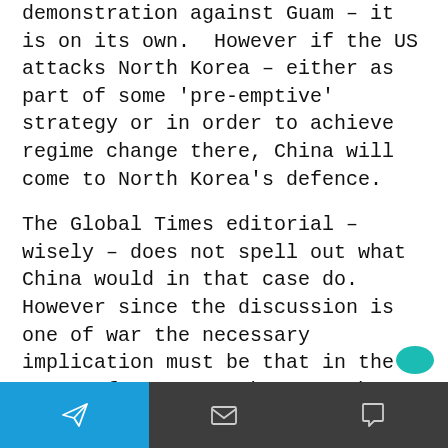demonstration against Guam – it is on its own. However if the US attacks North Korea – either as part of some 'pre-emptive' strategy or in order to achieve regime change there, China will come to North Korea's defence.
The Global Times editorial – wisely – does not spell out what China would in that case do. However since the discussion is one of war the necessary implication must be that in the event of a US attack on North Korea China will respond militarily.
Probably that response will be graduated and
[send icon] [mail icon] [chat icon]